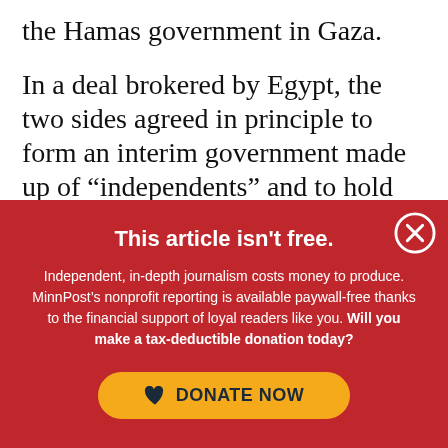the Hamas government in Gaza.
In a deal brokered by Egypt, the two sides agreed in principle to form an interim government made up of “independents” and to hold elections in a year, officials said at a press
This article isn't free.
Independent, in-depth journalism costs money to produce. MinnPost’s nonprofit reporting is available paywall-free thanks to the financial support of loyal readers like you. Will you make a tax-deductible donation today?
[Figure (other): Yellow rounded donate button with heart icon and text DONATE NOW]